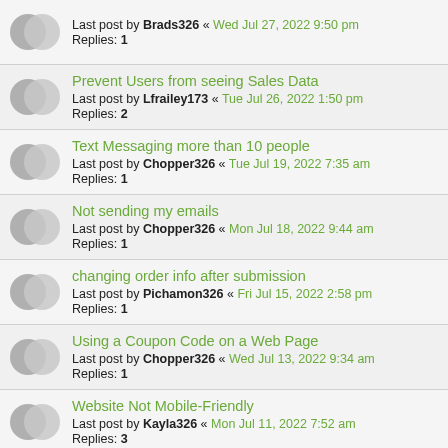Last post by Brads326 « Wed Jul 27, 2022 9:50 pm
Replies: 1
Prevent Users from seeing Sales Data
Last post by Lfrailey173 « Tue Jul 26, 2022 1:50 pm
Replies: 2
Text Messaging more than 10 people
Last post by Chopper326 « Tue Jul 19, 2022 7:35 am
Replies: 1
Not sending my emails
Last post by Chopper326 « Mon Jul 18, 2022 9:44 am
Replies: 1
changing order info after submission
Last post by Pichamon326 « Fri Jul 15, 2022 2:58 pm
Replies: 1
Using a Coupon Code on a Web Page
Last post by Chopper326 « Wed Jul 13, 2022 9:34 am
Replies: 1
Website Not Mobile-Friendly
Last post by Kayla326 « Mon Jul 11, 2022 7:52 am
Replies: 3
Website/Pages Loading Slow
Last post by Pichamon326 « Sat Jul 09, 2022 3:35 pm
Replies: 1